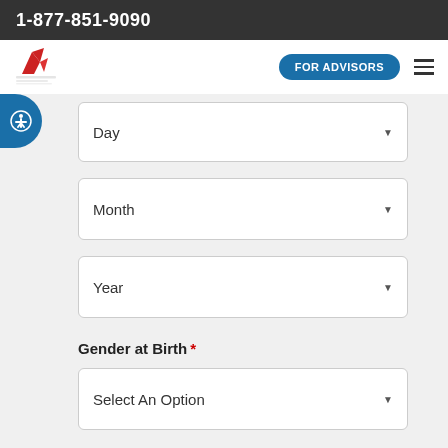1-877-851-9090
[Figure (logo): Canada Protection Plan logo with red bird/phoenix graphic]
FOR ADVISORS
Day (dropdown)
Month (dropdown)
Year (dropdown)
Gender at Birth *
Select An Option (dropdown)
Coverage Amount